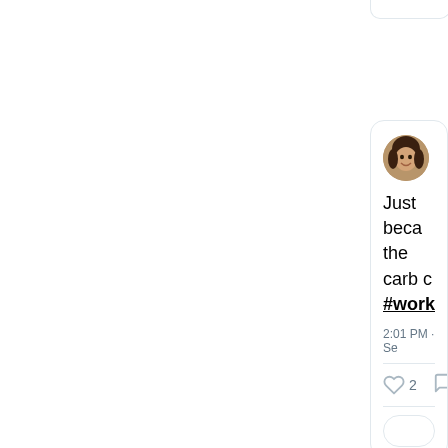[Figure (screenshot): Partial Twitter/social media card cropped at top of page]
[Figure (screenshot): Twitter tweet card showing user Karen with handle @Ka... posting tweet text 'Just beca... the carb c... #workinp...' at 2:01 PM · Se... with 2 likes and a comment icon, plus a reply input box]
Karen
@Ka
Just beca the carb c #workinp
2:01 PM · Se
2
[Figure (screenshot): Second partial Twitter tweet card at bottom showing user Karen with handle @Ka... and beginning of tweet text 'M... ...' cropped]